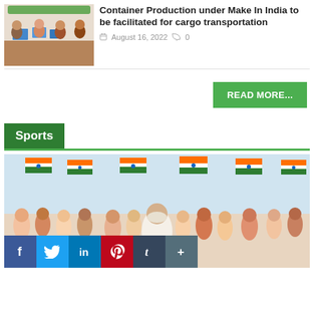[Figure (photo): People sitting at a conference table with laptops, in a meeting room setting]
Container Production under Make In India to be facilitated for cargo transportation
August 16, 2022  0
READ MORE...
Sports
[Figure (photo): Group of children and a man waving Indian tricolor flags indoors, celebrating Independence Day]
[Figure (infographic): Social media share buttons: Facebook, Twitter, LinkedIn, Pinterest, Tumblr, and More (+)]